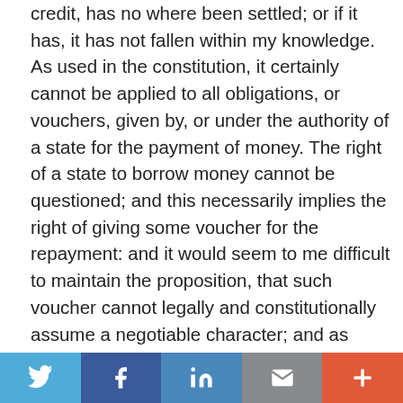credit, has no where been settled; or if it has, it has not fallen within my knowledge. As used in the constitution, it certainly cannot be applied to all obligations, or vouchers, given by, or under the authority of a state for the payment of money. The right of a state to borrow money cannot be questioned; and this necessarily implies the right of giving some voucher for the repayment: and it would seem to me difficult to maintain the proposition, that such voucher cannot legally and constitutionally assume a negotiable character; and as such, to a certain extent, pass as, or become a substitute for money. The act does not profess to make these certificates a circulating medium, or substitute for money. They are (except as relates to public officers) made receivable only for taxes and debts due to the state, and for salt sold by the lessees of salt springs belonging to the state. These are special and limited objects; and these certificates cannot
social share bar: Twitter, Facebook, LinkedIn, Email, Plus